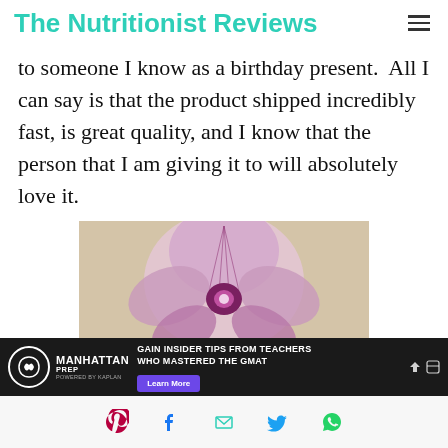The Nutritionist Reviews
to someone I know as a birthday present.  All I can say is that the product shipped incredibly fast, is great quality, and I know that the person that I am giving it to will absolutely love it.
[Figure (photo): Close-up photo of a pink and purple orchid flower with striped petals on a beige background]
[Figure (other): Manhattan Prep advertisement banner: GAIN INSIDER TIPS FROM TEACHERS WHO MASTERED THE GMAT — Learn More button]
[Figure (other): Social share bar with Pinterest, Facebook, email, Twitter, and WhatsApp icons]